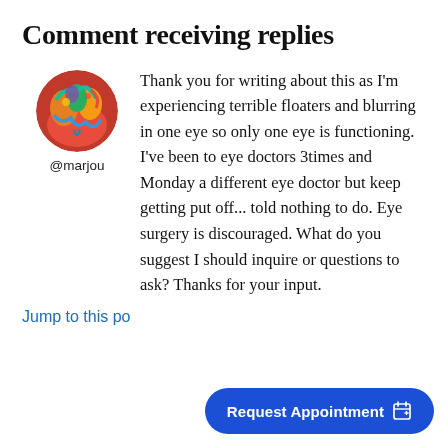Comment receiving replies
[Figure (illustration): Circular avatar image with colorful abstract/chameleon art]
@marjou
Thank you for writing about this as I'm experiencing terrible floaters and blurring in one eye so only one eye is functioning. I've been to eye doctors 3times and Monday a different eye doctor but keep getting put off... told nothing to do. Eye surgery is discouraged. What do you suggest I should inquire or questions to ask? Thanks for your input.
Jump to this po
Request Appointment